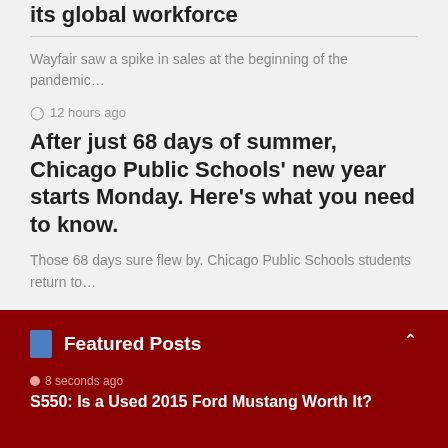its global workforce
Wayfair saw a spike in sales at the beginning of the pandemic…
⊙ 12 hours ago
After just 68 days of summer, Chicago Public Schools' new year starts Monday. Here's what you need to know.
Those 68 days sure flew by. Chicago Public Schools students return to…
Pagination: 1 2 3 » 10 20 ... Last
Featured Posts
8 seconds ago
S550: Is a Used 2015 Ford Mustang Worth It?